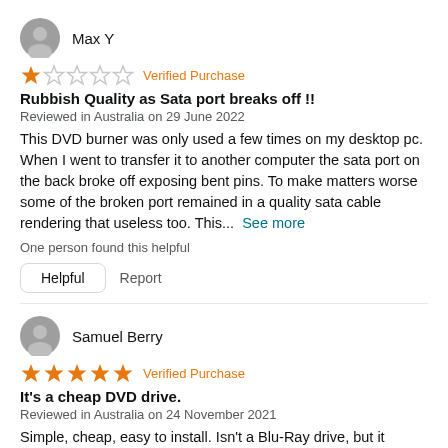Max Y
★☆☆☆☆ Verified Purchase
Rubbish Quality as Sata port breaks off !!
Reviewed in Australia on 29 June 2022
This DVD burner was only used a few times on my desktop pc. When I went to transfer it to another computer the sata port on the back broke off exposing bent pins. To make matters worse some of the broken port remained in a quality sata cable rendering that useless too. This... See more
One person found this helpful
Helpful  Report
Samuel Berry
★★★★★ Verified Purchase
It's a cheap DVD drive.
Reviewed in Australia on 24 November 2021
Simple, cheap, easy to install. Isn't a Blu-Ray drive, but it doesn't really matter because its pretty cheap for a new